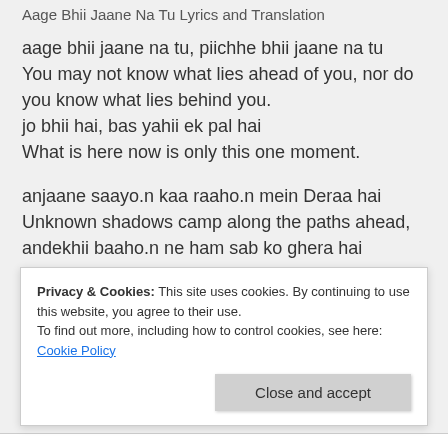Aage Bhii Jaane Na Tu Lyrics and Translation
aage bhii jaane na tu, piichhe bhii jaane na tu
You may not know what lies ahead of you, nor do you know what lies behind you.
jo bhii hai, bas yahii ek pal hai
What is here now is only this one moment.
anjaane saayo.n kaa raaho.n mein Deraa hai
Unknown shadows camp along the paths ahead,
andekhii baaho.n ne ham sab ko ghera hai
Privacy & Cookies: This site uses cookies. By continuing to use this website, you agree to their use.
To find out more, including how to control cookies, see here: Cookie Policy
Close and accept